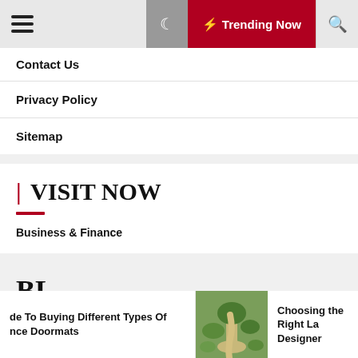Trending Now
Contact Us
Privacy Policy
Sitemap
| VISIT NOW
Business & Finance
BL
de To Buying Different Types Of nce Doormats
Choosing the Right La Designer